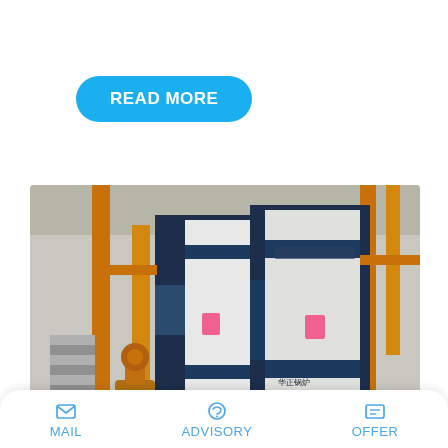READ MORE
[Figure (photo): Industrial gas steam boilers in white and dark blue casing with yellow gas pipes in a boiler room]
Industrial 10 Ton Coal Steam ...acturers Russia
[Figure (screenshot): WhatsApp 'Save Stickers on WhatsApp' overlay popup with phone and smiley icons]
MAIL   ADVISORY   OFFER